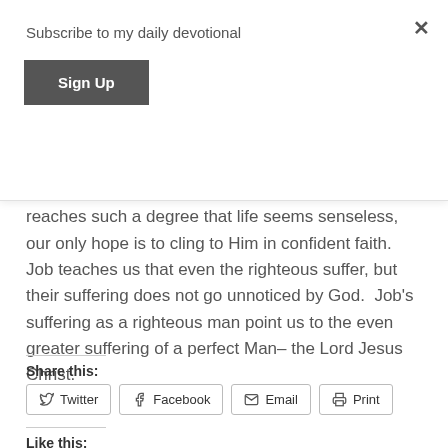Subscribe to my daily devotional
Sign Up
trusting in Him. Thus, when our pain and suffering reaches such a degree that life seems senseless, our only hope is to cling to Him in confident faith. Job teaches us that even the righteous suffer, but their suffering does not go unnoticed by God. Job's suffering as a righteous man point us to the even greater suffering of a perfect Man– the Lord Jesus Christ.
Share this:
Twitter | Facebook | Email | Print
Like this: